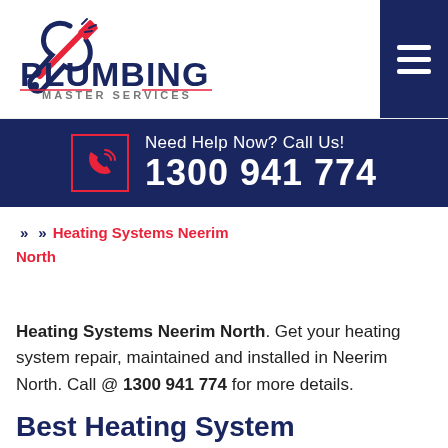[Figure (logo): Plumbing Master Services logo with wrench and screwdriver icon, dark navy blue text 'PLUMBING' and red 'MASTER SERVICES']
[Figure (other): Dark navy hamburger menu button with three white horizontal lines]
[Figure (other): Dark navy phone banner with red-bordered phone icon and white text 'Need Help Now? Call Us! 1300 941 774']
» » Heating Systems Neerim North
Heating Systems Neerim North. Get your heating system repair, maintained and installed in Neerim North. Call @ 1300 941 774 for more details.
Best Heating System Installation in